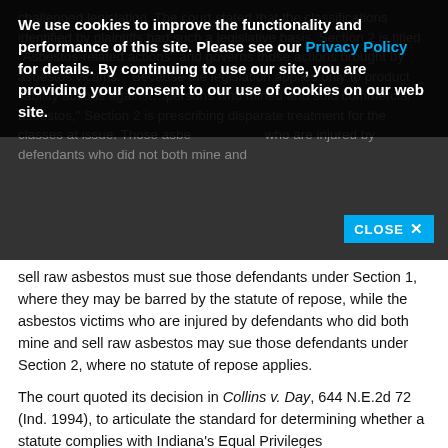challenged legislation. The court stated that the classifications identified by plaintiffs had such a legislative basis. Section 2 is titled "Asbestos-related actions" and governs those actions brought by asbestos victims. Because the legislation applies only to product liability actions against...persons who mined and sold commercial asbestos," Section 2 is prescribing disparate treatment for the classes at issue. Those asbestos victims who are injured by defendants who did not both mine and
We use cookies to improve the functionality and performance of this site. Please see our Privacy Policy for details. By continuing to use our site, you are providing your consent to our use of cookies on our web site.
sell raw asbestos must sue those defendants under Section 1, where they may be barred by the statute of repose, while the asbestos victims who are injured by defendants who did both mine and sell raw asbestos may sue those defendants under Section 2, where no statute of repose applies.
The court quoted its decision in Collins v. Day, 644 N.E.2d 72 (Ind. 1994), to articulate the standard for determining whether a statute complies with Indiana's Equal Privileges